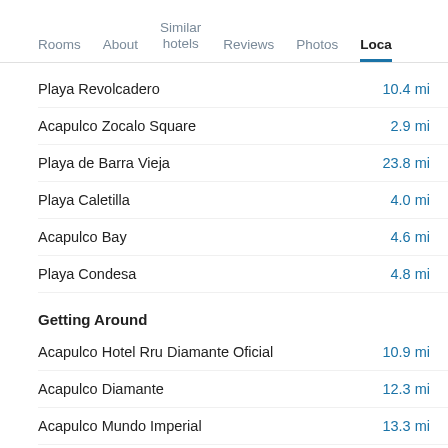Rooms | About | Similar hotels | Reviews | Photos | Loca...
Playa Revolcadero — 10.4 mi
Acapulco Zocalo Square — 2.9 mi
Playa de Barra Vieja — 23.8 mi
Playa Caletilla — 4.0 mi
Acapulco Bay — 4.6 mi
Playa Condesa — 4.8 mi
Getting Around
Acapulco Hotel Rru Diamante Oficial — 10.9 mi
Acapulco Diamante — 12.3 mi
Acapulco Mundo Imperial — 13.3 mi
Acapulco Central De Autobuses Acapulco Ejido — 2.4 mi
Acapulco Terminal Centro — 3.0 mi